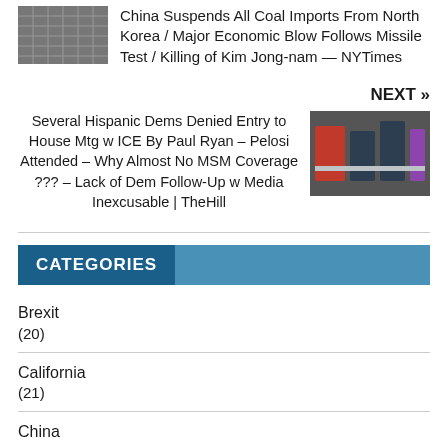China Suspends All Coal Imports From North Korea / Major Economic Blow Follows Missile Test / Killing of Kim Jong-nam — NYTimes
NEXT »
Several Hispanic Dems Denied Entry to House Mtg w ICE By Paul Ryan – Pelosi Attended – Why Almost No MSM Coverage ??? – Lack of Dem Follow-Up w Media Inexcusable | TheHill
CATEGORIES
Brexit
(20)
California
(21)
China